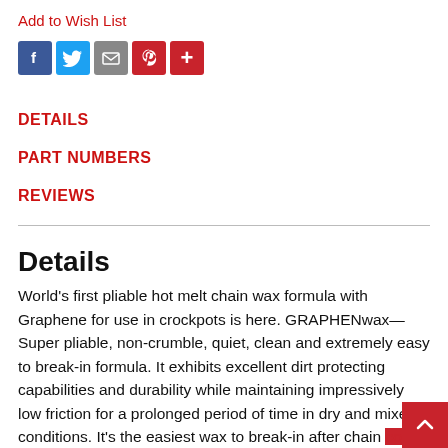Add to Wish List
[Figure (other): Social sharing icons: Facebook (blue), Twitter (blue), Email (gray), Pinterest (red), More/Plus (red)]
DETAILS
PART NUMBERS
REVIEWS
Details
World's first pliable hot melt chain wax formula with Graphene for use in crockpots is here. GRAPHENwax—Super pliable, non-crumble, quiet, clean and extremely easy to break-in formula. It exhibits excellent dirt protecting capabilities and durability while maintaining impressively low friction for a prolonged period of time in dry and mixed conditions. It's the easiest wax to break-in after chain cools